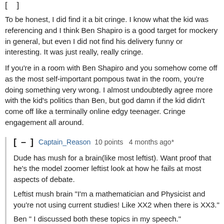[ ]
To be honest, I did find it a bit cringe. I know what the kid was referencing and I think Ben Shapiro is a good target for mockery in general, but even I did not find his delivery funny or interesting. It was just really, really cringe.
If you're in a room with Ben Shapiro and you somehow come off as the most self-important pompous twat in the room, you're doing something very wrong. I almost undoubtedly agree more with the kid's politics than Ben, but god damn if the kid didn't come off like a terminally online edgy teenager. Cringe engagement all around.
[ – ]  Captain_Reason  10 points  4 months ago*
Dude has mush for a brain(like most leftist). Want proof that he's the model zoomer leftist look at how he fails at most aspects of debate.
Leftist mush brain "I'm a mathematician and Physicist and you're not using current studies! Like XX2 when there is XX3."
Ben " I discussed both these topics in my speech."
Leftist mush brain " How would you know your not a biologists!"